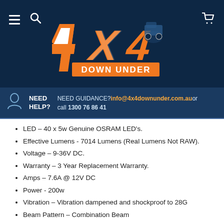[Figure (logo): 4X4 Down Under logo with orange and white stylized text on dark navy background, featuring a 4x4 vehicle graphic]
NEED HELP? NEED GUIDANCE? info@4x4downunder.com.au or call 1300 76 86 41
LED – 40 x 5w Genuine OSRAM LED's.
Effective Lumens - 7014 Lumens (Real Lumens Not RAW).
Voltage – 9-36V DC.
Warranty – 3 Year Replacement Warranty.
Amps – 7.6A @ 12V DC
Power - 200w
Vibration – Vibration dampened and shockproof to 28G
Beam Pattern – Combination Beam
IP Rating – IP69K – Waterproof up to 3 meters
Colour Temperature - 5700 Kelvin